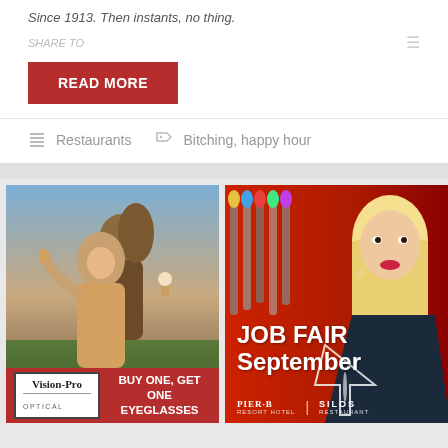Since 1913. Then instants, no thing.
READ MORE
Restaurants
Bitching, happy hour
[Figure (photo): Two women laughing outdoors at sunset holding food, advertisement for Vision-Pro Optical: BUY ONE, GET ONE EYEGLASSES]
[Figure (photo): Smiling blonde woman holding a martini glass in front of bar taps, advertisement for JOB FAIR September - Pier B Resort Hotel and Silos restaurant]